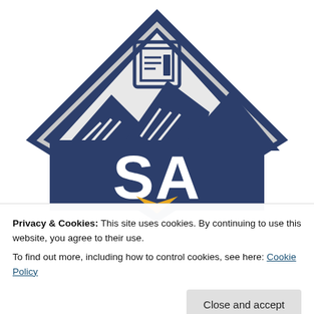[Figure (logo): Diamond-shaped logo with dark navy blue background showing mountain peaks, a document/newspaper icon at top, and large white letters 'SA' in the center. The diamond has a light gray inner triangle border and a small gold/yellow chevron at the bottom.]
Privacy & Cookies: This site uses cookies. By continuing to use this website, you agree to their use.
To find out more, including how to control cookies, see here: Cookie Policy
Close and accept